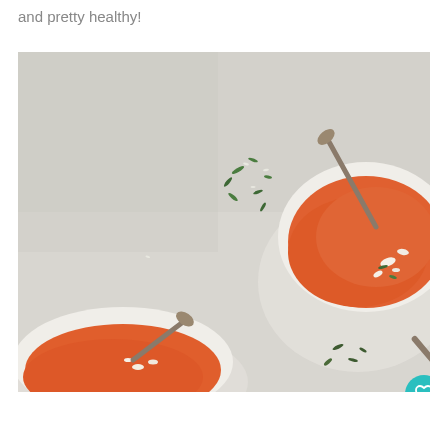and pretty healthy!
[Figure (photo): Overhead view of two white bowls filled with orange tomato or roasted red pepper soup, garnished with crumbled cheese and herbs. Spoons rest in each bowl. Scattered herbs visible on a light grey concrete surface. Social sharing UI overlaid: heart/save button (teal circle), 28.9K save count, share button.]
[Figure (infographic): Advertisement banner with teal background showing a dog image on the left and bold white text reading 'GIVE ME THOSE PUPPY DOG EYES' with a heart icon. Close button (x) shown. Right side shows an 'x' and 'w°' logo mark on white background.]